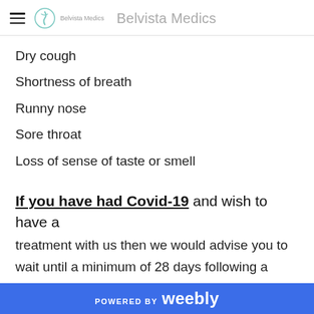Belvista Medics
Dry cough
Shortness of breath
Runny nose
Sore throat
Loss of sense of taste or smell
If you have had Covid-19 and wish to have a treatment with us then we would advise you to wait until a minimum of 28 days following a positive test, or until you are feeling completely well if you are suffering from longer term effects of the illness. Whilst we appreciate that this may be disappointing, it is for your safety as we do not fully know the risks of aesthetic treatments under
POWERED BY weebly